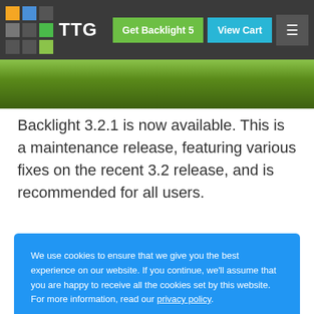TTG | Get Backlight 5 | View Cart
[Figure (photo): Partial outdoor photo strip at top showing green foliage]
Backlight 3.2.1 is now available. This is a maintenance release, featuring various fixes on the recent 3.2 release, and is recommended for all users.
We use cookies to ensure that we give you the best experience on our website. If you continue, we'll assume that you are happy to receive all the cookies set by this website. For more information, read our privacy policy.
I accept the use of cookies on this site
[Figure (photo): Partial photo at bottom showing teal/green abstract or nature image]